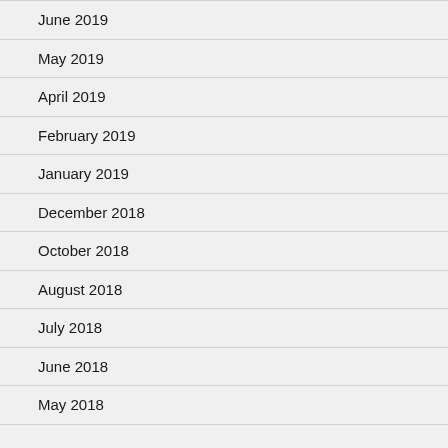June 2019
May 2019
April 2019
February 2019
January 2019
December 2018
October 2018
August 2018
July 2018
June 2018
May 2018